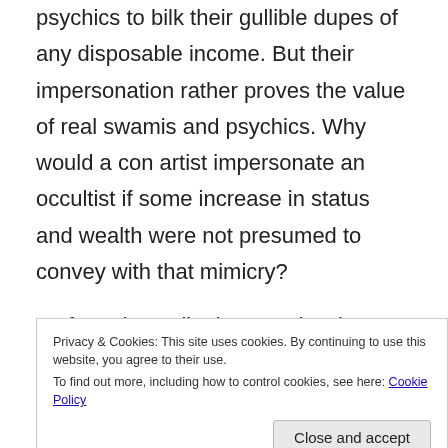There's not quite a few charlatans posing as swamis and psychics to bilk their gullible dupes of any disposable income. But their impersonation rather proves the value of real swamis and psychics. Why would a con artist impersonate an occultist if some increase in status and wealth were not presumed to convey with that mimicry?
As for writers slipping past barriers to social advancement, that potential perk pertains to all the creative arts. Artistic ability has always been coveted by those over-endowed with wealth and status but lacking in creative talent.
Privacy & Cookies: This site uses cookies. By continuing to use this website, you agree to their use.
To find out more, including how to control cookies, see here: Cookie Policy
Edith Piaf for a Kurt Cobain, a Bill Robinson for a Josephine